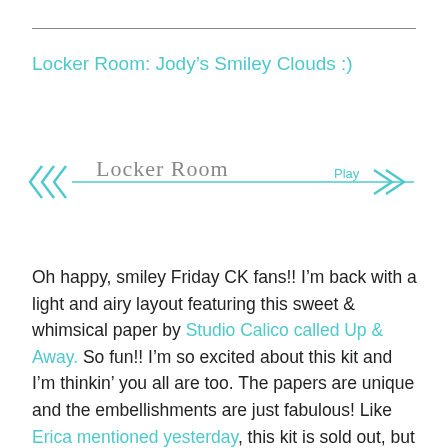Locker Room: Jody's Smiley Clouds :)
[Figure (illustration): A decorative banner graphic with teal/turquoise arrow chevrons on the left, a horizontal line, the text 'Locker Room' in gray serif font, and 'Play' with a right-pointing arrow on the right end, all in teal.]
Oh happy, smiley Friday CK fans!! I'm back with a light and airy layout featuring this sweet & whimsical paper by Studio Calico called Up & Away.  So fun!!  I'm so excited about this kit and I'm thinkin' you all are too.  The papers are unique and the embellishments are just fabulous!  Like Erica mentioned yesterday, this kit is sold out, but